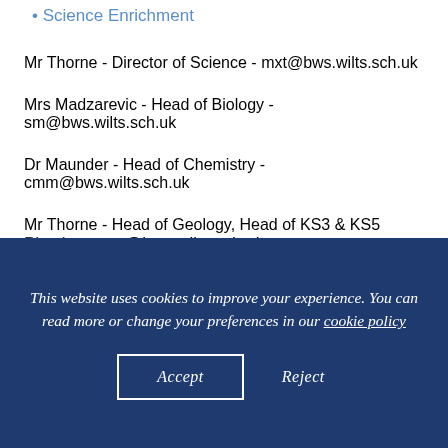Science Enrichment
Mr Thorne - Director of Science - mxt@bws.wilts.sch.uk
Mrs Madzarevic - Head of Biology - sm@bws.wilts.sch.uk
Dr Maunder - Head of Chemistry - cmm@bws.wilts.sch.uk
Mr Thorne - Head of Geology, Head of KS3 & KS5 Physics - mxt@bws.wilts.sch.uk
This website uses cookies to improve your experience. You can read more or change your preferences in our cookie policy